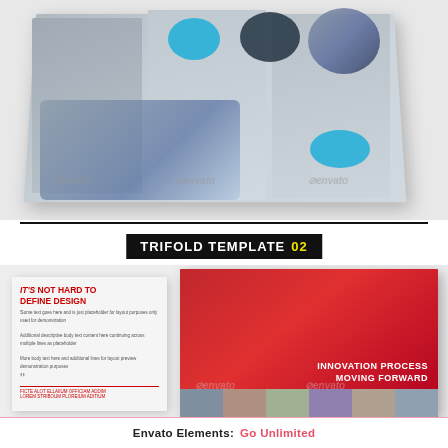[Figure (illustration): Preview of a trifold brochure template (template 01) in gray and blue tones, shown in a folded perspective view with blue circles, a dark oval, photo elements, and hand/laptop imagery. Three Envato watermarks visible.]
TRIFOLD TEMPLATE 02
[Figure (illustration): Preview of a second trifold brochure template (template 02) showing a white panel on the left with red headline text 'IT'S NOT HARD TO DEFINE DESIGN' and a large red geometric panel on the right with 'INNOVATION PROCESS MOVING FORWARD' text and a photo strip of people at bottom. Envato watermarks visible.]
Envato Elements: Go Unlimited